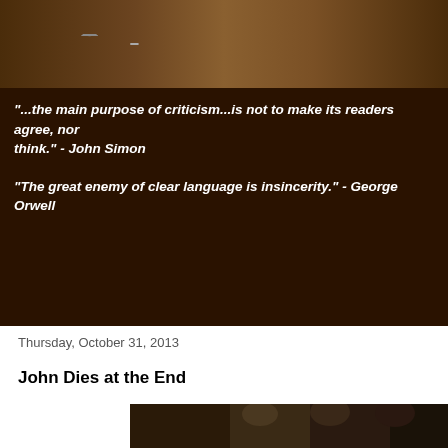[Figure (photo): Top portion of a desk or table with papers and objects, dark brownish tone]
"...the main purpose of criticism...is not to make its readers agree, nor to make them think." - John Simon
"The great enemy of clear language is insincerity." - George Orwell
Thursday, October 31, 2013
John Dies at the End
[Figure (photo): Movie still from John Dies at the End showing three characters, two men and a woman with white glasses, looking alarmed in a dark setting]